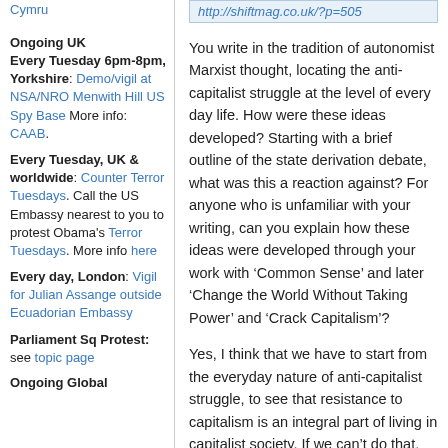Cymru
[Figure (other): URL box showing http://shiftmag.co.uk/?p=505]
Ongoing UK
Every Tuesday 6pm-8pm, Yorkshire: Demo/vigil at NSA/NRO Menwith Hill US Spy Base More info: CAAB.
Every Tuesday, UK & worldwide: Counter Terror Tuesdays. Call the US Embassy nearest to you to protest Obama's Terror Tuesdays. More info here
Every day, London: Vigil for Julian Assange outside Ecuadorian Embassy
Parliament Sq Protest: see topic page
Ongoing Global
You write in the tradition of autonomist Marxist thought, locating the anti-capitalist struggle at the level of every day life. How were these ideas developed? Starting with a brief outline of the state derivation debate, what was this a reaction against? For anyone who is unfamiliar with your writing, can you explain how these ideas were developed through your work with ‘Common Sense’ and later ‘Change the World Without Taking Power’ and ‘Crack Capitalism’?
Yes, I think that we have to start from the everyday nature of anti-capitalist struggle, to see that resistance to capitalism is an integral part of living in capitalist society. If we can’t do that, then the struggle against capitalism becomes inevitably elitist, and self-defeating. This statement may seem a long way from the state